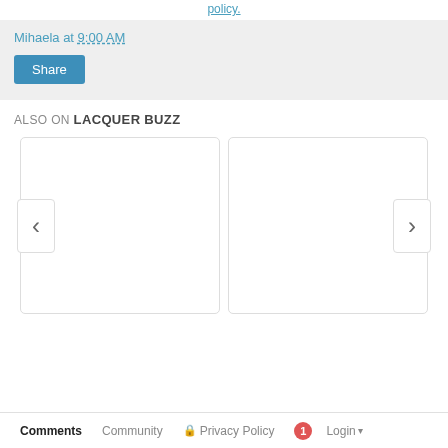policy.
Mihaela at 9:00 AM
[Figure (screenshot): Share button (blue)]
ALSO ON LACQUER BUZZ
[Figure (screenshot): Two content cards with previous/next navigation arrows]
Comments  Community  Privacy Policy  1  Login